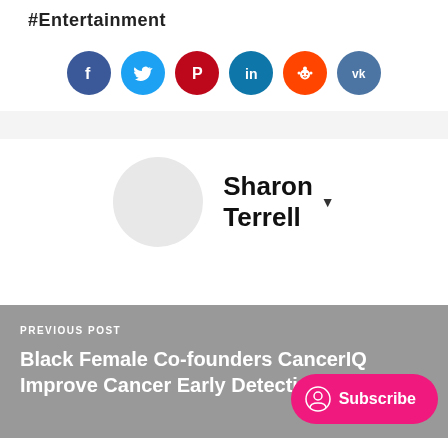#Entertainment
[Figure (infographic): Row of social media share buttons: Facebook (dark blue), Twitter (light blue), Pinterest (red), LinkedIn (teal/blue), Reddit (orange-red), VK (dark blue-gray)]
[Figure (photo): Author avatar placeholder circle (light gray) next to author name 'Sharon Terrell' with dropdown arrow]
Sharon Terrell
PREVIOUS POST
Black Female Co-founders CancerIQ Improve Cancer Early Detection and